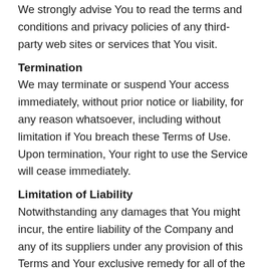We strongly advise You to read the terms and conditions and privacy policies of any third-party web sites or services that You visit.
Termination
We may terminate or suspend Your access immediately, without prior notice or liability, for any reason whatsoever, including without limitation if You breach these Terms of Use. Upon termination, Your right to use the Service will cease immediately.
Limitation of Liability
Notwithstanding any damages that You might incur, the entire liability of the Company and any of its suppliers under any provision of this Terms and Your exclusive remedy for all of the foregoing shall be limited to the amount actually paid by You through the Service or